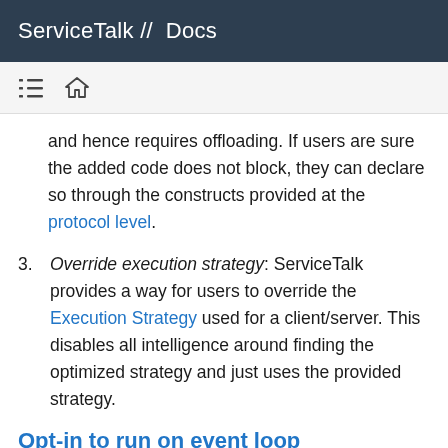ServiceTalk //  Docs
and hence requires offloading. If users are sure the added code does not block, they can declare so through the constructs provided at the protocol level.
3. Override execution strategy: ServiceTalk provides a way for users to override the Execution Strategy used for a client/server. This disables all intelligence around finding the optimized strategy and just uses the provided strategy.
Opt-in to run on event loop
ServiceTalk acknowledges that writing completely